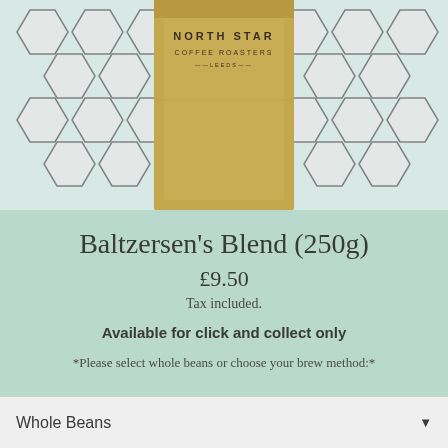[Figure (photo): A kraft paper bag of North Star Coffee Roasters coffee sitting against a white hexagonal tile background. The bag is golden/tan colored with dark text showing the North Star Coffee Roasters brand name and logo.]
Baltzersen's Blend (250g)
£9.50
Tax included.
Available for click and collect only
*Please select whole beans or choose your brew method:*
Whole Beans